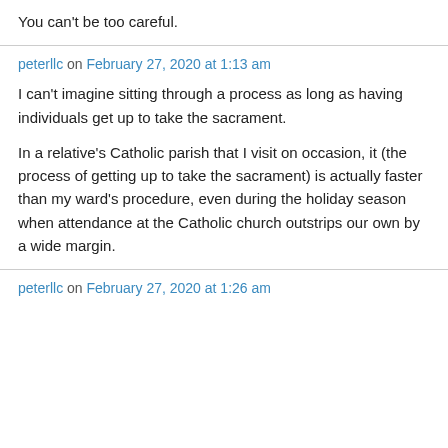You can't be too careful.
peterllc on February 27, 2020 at 1:13 am
I can't imagine sitting through a process as long as having individuals get up to take the sacrament.
In a relative's Catholic parish that I visit on occasion, it (the process of getting up to take the sacrament) is actually faster than my ward's procedure, even during the holiday season when attendance at the Catholic church outstrips our own by a wide margin.
peterllc on February 27, 2020 at 1:26 am